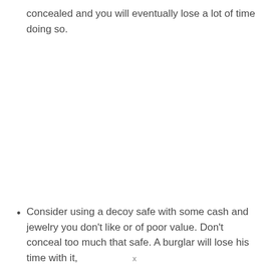concealed and you will eventually lose a lot of time doing so.
Consider using a decoy safe with some cash and jewelry you don't like or of poor value. Don't conceal too much that safe. A burglar will lose his time with it,
x